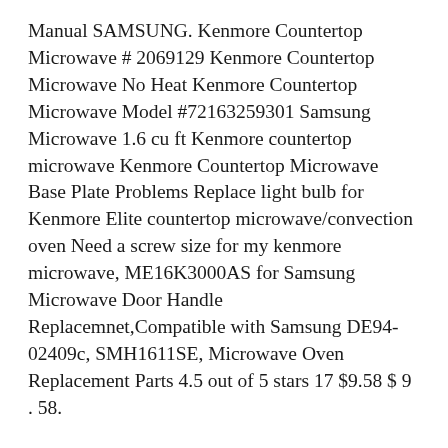Manual SAMSUNG. Kenmore Countertop Microwave # 2069129 Kenmore Countertop Microwave No Heat Kenmore Countertop Microwave Model #72163259301 Samsung Microwave 1.6 cu ft Kenmore countertop microwave Kenmore Countertop Microwave Base Plate Problems Replace light bulb for Kenmore Elite countertop microwave/convection oven Need a screw size for my kenmore microwave, ME16K3000AS for Samsung Microwave Door Handle Replacemnet,Compatible with Samsung DE94-02409c, SMH1611SE, Microwave Oven Replacement Parts 4.5 out of 5 stars 17 $9.58 $ 9 . 58.